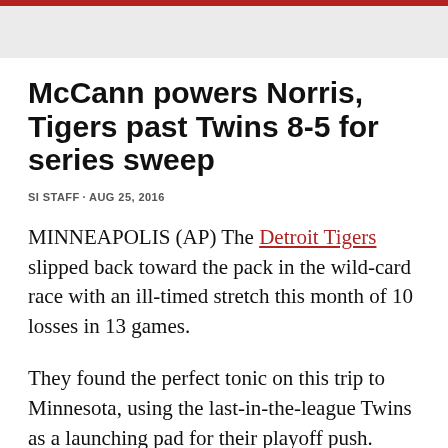McCann powers Norris, Tigers past Twins 8-5 for series sweep
SI STAFF · AUG 25, 2016
MINNEAPOLIS (AP) The Detroit Tigers slipped back toward the pack in the wild-card race with an ill-timed stretch this month of 10 losses in 13 games.
They found the perfect tonic on this trip to Minnesota, using the last-in-the-league Twins as a launching pad for their playoff push.